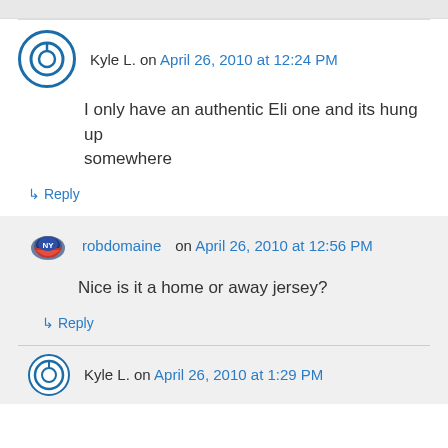Kyle L. on April 26, 2010 at 12:24 PM
I only have an authentic Eli one and its hung up somewhere
↳ Reply
robdomaine on April 26, 2010 at 12:56 PM
Nice is it a home or away jersey?
↳ Reply
Kyle L. on April 26, 2010 at 1:29 PM